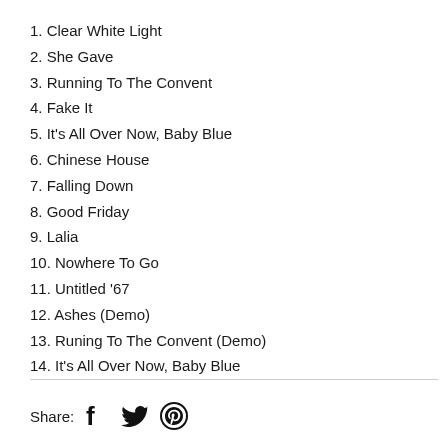1. Clear White Light
2. She Gave
3. Running To The Convent
4. Fake It
5. It's All Over Now, Baby Blue
6. Chinese House
7. Falling Down
8. Good Friday
9. Lalia
10. Nowhere To Go
11. Untitled '67
12. Ashes (Demo)
13. Runing To The Convent (Demo)
14. It's All Over Now, Baby Blue
Share: